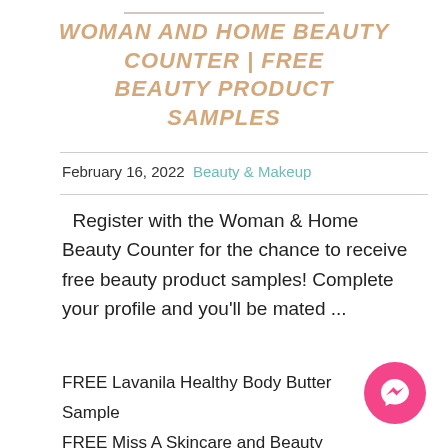Woman and Home Beauty Counter | Free Beauty Product Samples
February 16, 2022  Beauty & Makeup
Register with the Woman & Home Beauty Counter for the chance to receive free beauty product samples! Complete your profile and you'll be mated ...
FREE Lavanila Healthy Body Butter Sample
FREE Miss A Skincare and Beauty Products
Allure Beauty Enthusiasts FREE Beauty Products
[Figure (logo): Pink circular Messenger chat button with white lightning bolt icon]